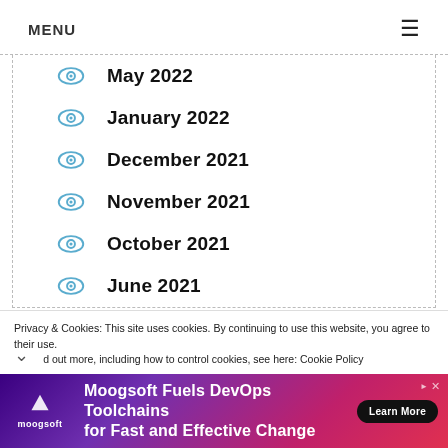MENU
May 2022
January 2022
December 2021
November 2021
October 2021
June 2021
Privacy & Cookies: This site uses cookies. By continuing to use this website, you agree to their use. To find out more, including how to control cookies, see here: Cookie Policy
[Figure (infographic): Moogsoft advertisement banner: 'Moogsoft Fuels DevOps Toolchains for Fast and Effective Change' with Learn More button]